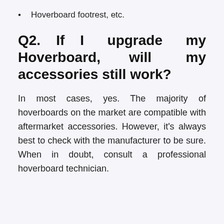Hoverboard footrest, etc.
Q2. If I upgrade my Hoverboard, will my accessories still work?
In most cases, yes. The majority of hoverboards on the market are compatible with aftermarket accessories. However, it's always best to check with the manufacturer to be sure. When in doubt, consult a professional hoverboard technician.